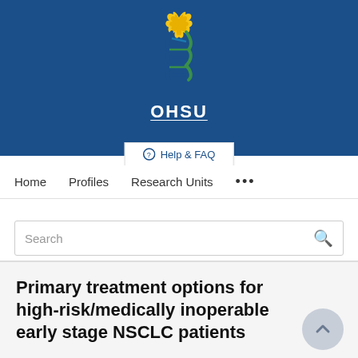[Figure (logo): OHSU (Oregon Health & Science University) logo on blue banner background. Logo shows a stylized DNA double helix with blue and green strands and yellow/gold flame at top. The text 'OHSU' appears in white below with an underline.]
⊕ Help & FAQ
Home   Profiles   Research Units   ...
Search
Primary treatment options for high-risk/medically inoperable early stage NSCLC patients